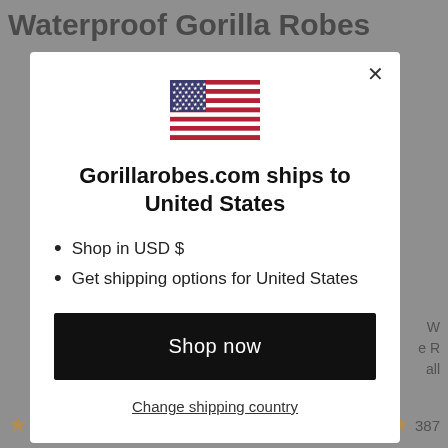Waterproof Gorilla Robes
[Figure (screenshot): Modal dialog on a shopping website showing a US flag, text 'Gorillarobes.com ships to United States', bullet points 'Shop in USD $' and 'Get shipping options for United States', a black 'Shop now' button, and a 'Change shipping country' link]
533 reviews
387